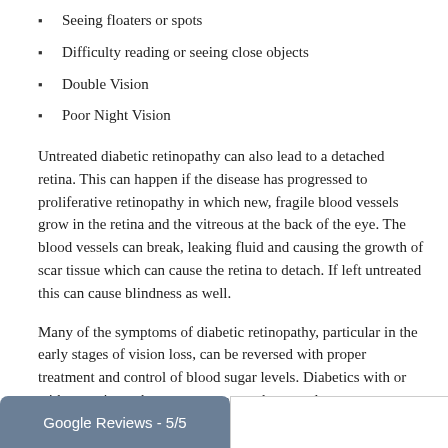Seeing floaters or spots
Difficulty reading or seeing close objects
Double Vision
Poor Night Vision
Untreated diabetic retinopathy can also lead to a detached retina. This can happen if the disease has progressed to proliferative retinopathy in which new, fragile blood vessels grow in the retina and the vitreous at the back of the eye. The blood vessels can break, leaking fluid and causing the growth of scar tissue which can cause the retina to detach. If left untreated this can cause blindness as well.
Many of the symptoms of diabetic retinopathy, particular in the early stages of vision loss, can be reversed with proper treatment and control of blood sugar levels. Diabetics with or without retinopathy must see an eye doctor at least once a year for a comprehensive eye exam to monitor any changes and ensure that proper treatment is prescribed.
Google Reviews - 5/5